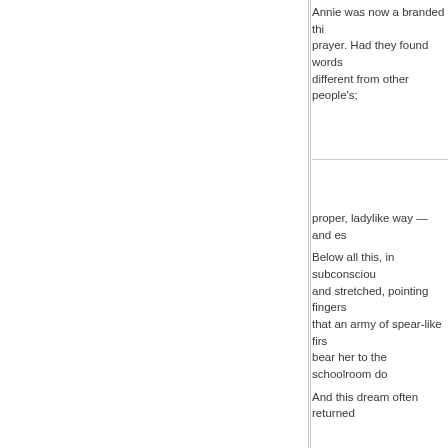Annie was now a branded thi... prayer. Had they found words... different from other people's;
proper, ladylike way — and es...
Below all this, in subconsciou... and stretched, pointing fingers... that an army of spear-like firs... bear her to the schoolroom do...
And this dream often returned...
[Figure (other): Navigation back button — a small dark square button with a left-pointing chevron symbol]